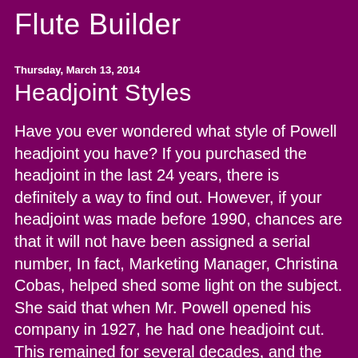Flute Builder
Thursday, March 13, 2014
Headjoint Styles
Have you ever wondered what style of Powell headjoint you have?  If you purchased the headjoint in the last 24 years, there is definitely a way to find out.  However, if your headjoint was made before 1990, chances are that it will not have been assigned a serial number,  In fact, Marketing Manager, Christina Cobas, helped shed some light on the subject.  She said that when Mr. Powell opened his company in 1927, he had one headjoint cut.  This remained for several decades, and the headjoints were not assigned serial numbers.  All of the headjoints were not exactly the same, though, because the headjoints could be cut to a basic style and then adjusted to allow for certain characteristics that the customer preferred.  She shared that in the early days of the company, Mr. Powell knew that teachers and performers...